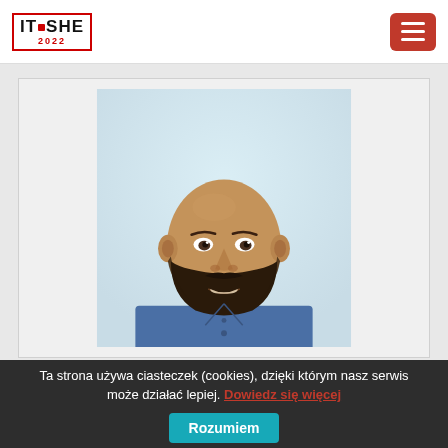IT FOR SHE 2022 — navigation header with logo and hamburger menu
[Figure (photo): Profile photo of a bald man with a beard, smiling, wearing a dark blue denim shirt, against a light blue/white background. Displayed inside a light gray card on a gray page background.]
Ta strona używa ciasteczek (cookies), dzięki którym nasz serwis może działać lepiej. Dowiedz się więcej   Rozumiem